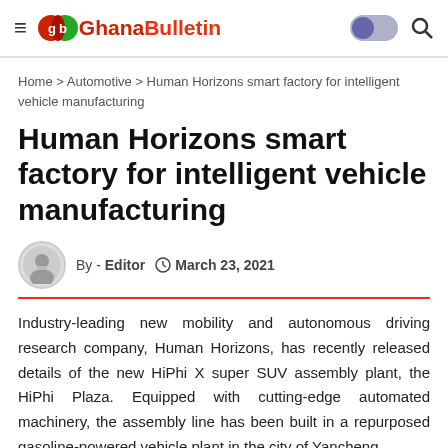Ghana Bulletin
Home > Automotive > Human Horizons smart factory for intelligent vehicle manufacturing
Human Horizons smart factory for intelligent vehicle manufacturing
By - Editor   March 23, 2021
Industry-leading new mobility and autonomous driving research company, Human Horizons, has recently released details of the new HiPhi X super SUV assembly plant, the HiPhi Plaza. Equipped with cutting-edge automated machinery, the assembly line has been built in a repurposed gasoline-powered vehicle plant in the city of Yancheng,